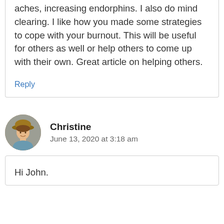aches, increasing endorphins. I also do mind clearing. I like how you made some strategies to cope with your burnout. This will be useful for others as well or help others to come up with their own. Great article on helping others.
Reply
Christine
June 13, 2020 at 3:18 am
Hi John.